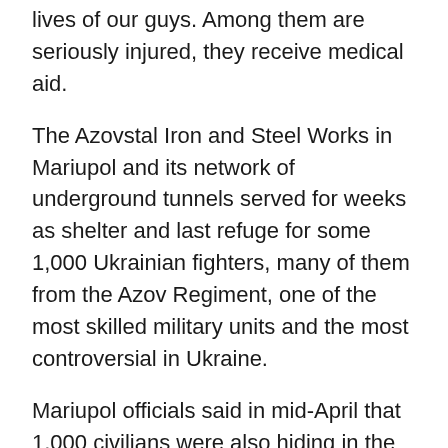lives of our guys. Among them are seriously injured, they receive medical aid.
The Azovstal Iron and Steel Works in Mariupol and its network of underground tunnels served for weeks as shelter and last refuge for some 1,000 Ukrainian fighters, many of them from the Azov Regiment, one of the most skilled military units and the most controversial in Ukraine.
Mariupol officials said in mid-April that 1,000 civilians were also hiding in the underground network. They were trapped for weeks amid an intense Russian assault, before all women, children and the elderly were evacuated earlier this month. Those who managed to get to safety described the brutality of their long siege in the cold and fetid bunker, where they lived without sunlight and with dwindling food and water supplies.
How a Mariupol steel plant became an obstacle to the